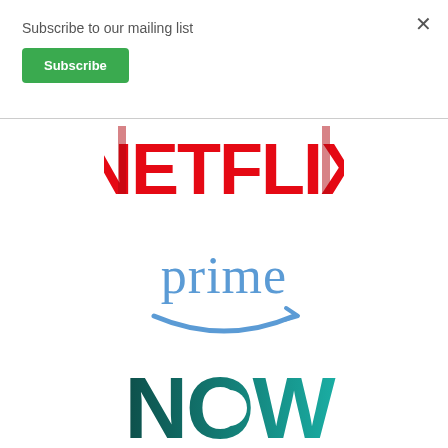Subscribe to our mailing list
Subscribe
[Figure (logo): Netflix logo in bold red letters]
[Figure (logo): Amazon Prime logo with blue 'prime' text and Amazon arrow smile]
[Figure (logo): NOW TV logo in teal/dark green rounded letters]